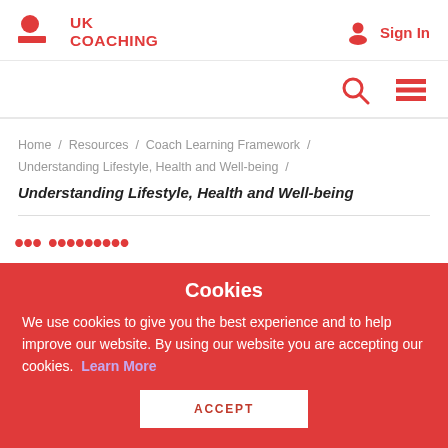UK COACHING  Sign In
Home / Resources / Coach Learning Framework / Understanding Lifestyle, Health and Well-being /
Understanding Lifestyle, Health and Well-being
[Figure (screenshot): Partially visible large red italic heading text, cropped by cookie banner]
Cookies
We use cookies to give you the best experience and to help improve our website. By using our website you are accepting our cookies. Learn More
ACCEPT